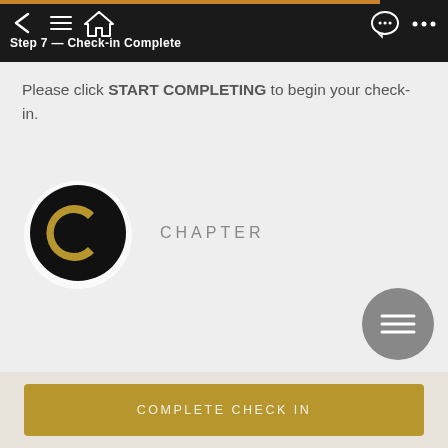Step 7 — Check-in Complete
Please click START COMPLETING to begin your check-in.
[Figure (logo): Chapter hotel app logo: black circle with gold C letter, on white circular background]
CHAPTER
[Figure (other): Gray circular hamburger menu button with three horizontal white lines]
COMPLETE CHECK IN